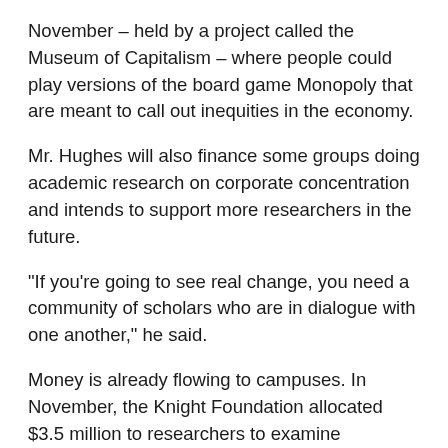November – held by a project called the Museum of Capitalism – where people could play versions of the board game Monopoly that are meant to call out inequities in the economy.
Mr. Hughes will also finance some groups doing academic research on corporate concentration and intends to support more researchers in the future.
“If you’re going to see real change, you need a community of scholars who are in dialogue with one another,” he said.
Money is already flowing to campuses. In November, the Knight Foundation allocated $3.5 million to researchers to examine questions about digital platforms, including competition issues.